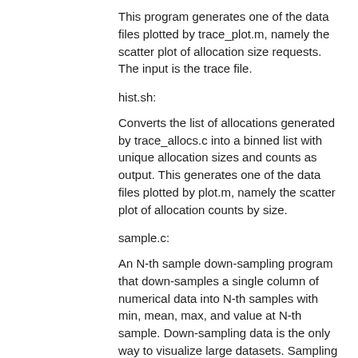This program generates one of the data files plotted by trace_plot.m, namely the scatter plot of allocation size requests. The input is the trace file.
hist.sh:
Converts the list of allocations generated by trace_allocs.c into a binned list with unique allocation sizes and counts as output. This generates one of the data files plotted by plot.m, namely the scatter plot of allocation counts by size.
sample.c:
An N-th sample down-sampling program that down-samples a single column of numerical data into N-th samples with min, mean, max, and value at N-th sample. Down-sampling data is the only way to visualize large datasets. Sampling supports starting at a given line offset, and ending at a given ending line offset.